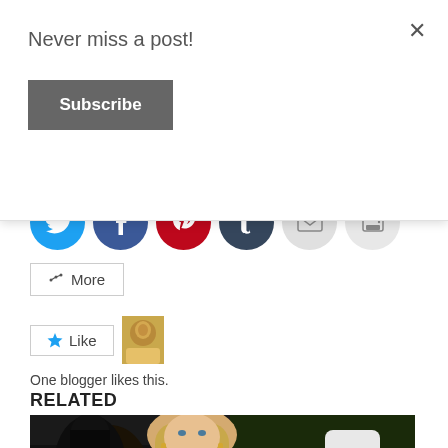Never miss a post!
Subscribe
[Figure (screenshot): Social sharing buttons row: Twitter (blue circle), Facebook (dark blue circle), Pinterest (red circle), Tumblr (dark navy circle), Email (light gray circle), Print (light gray circle)]
More
[Figure (illustration): Like button with star icon and a blogger avatar thumbnail photo]
One blogger likes this.
RELATED
[Figure (photo): Photo of a blonde woman in a black and gold outfit at what appears to be a formal event, with photographers and crowd in the background]